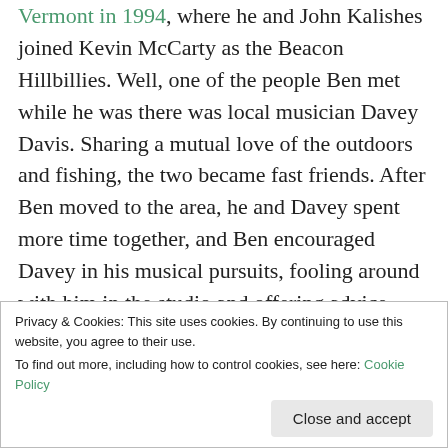Vermont in 1994, where he and John Kalishes joined Kevin McCarty as the Beacon Hillbillies. Well, one of the people Ben met while he was there was local musician Davey Davis. Sharing a mutual love of the outdoors and fishing, the two became fast friends. After Ben moved to the area, he and Davey spent more time together, and Ben encouraged Davey in his musical pursuits, fooling around with him in the studio and offering advice.
I'll write more about Ben and Davey in the future, but here's a fun little peek into the way Ben spent his...
Privacy & Cookies: This site uses cookies. By continuing to use this website, you agree to their use. To find out more, including how to control cookies, see here: Cookie Policy
Close and accept